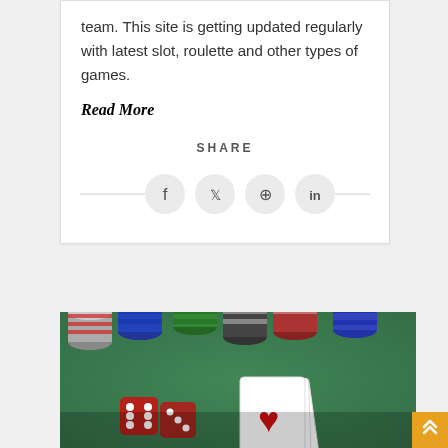team. This site is getting updated regularly with latest slot, roulette and other types of games.
Read More
SHARE
[Figure (illustration): Social share icons row: Facebook, Twitter, Pinterest, LinkedIn — circular gray buttons with horizontal lines on each side]
[Figure (photo): Photo of casino chips in multiple colors (red, blue, green, black, white), red dice, and playing cards including an ace of hearts on a green felt surface]